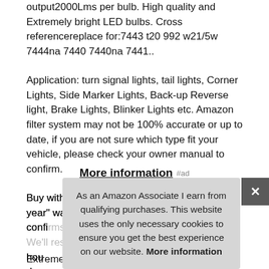output2000Lms per bulb. High quality and Extremely bright LED bulbs. Cross referencereplace for:7443 t20 992 w21/5w 7444na 7440 7440na 7441..
Application: turn signal lights, tail lights, Corner Lights, Side Marker Lights, Back-up Reverse light, Brake Lights, Blinker Lights etc. Amazon filter system may not be 100% accurate or up to date, if you are not sure which type fit your vehicle, please check your owner manual to confirm.
More information #ad
Buy with confidencewe offer "two year" warranty on items that confirms to be manufacturer defect. We'll respond within 24 hours. degree astonishing
As an Amazon Associate I earn from qualifying purchases. This website uses the only necessary cookies to ensure you get the best experience on our website. More information
Extremely bright 4000 lumens a set and is designed to last 60,